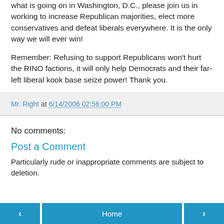what is going on in Washington, D.C., please join us in working to increase Republican majorities, elect more conservatives and defeat liberals everywhere. It is the only way we will ever win!
Remember: Refusing to support Republicans won't hurt the RINO factions, it will only help Democrats and their far-left liberal kook base seize power! Thank you.
Mr. Right at 6/14/2006 02:56:00 PM
No comments:
Post a Comment
Particularly rude or inappropriate comments are subject to deletion.
‹  Home  ›